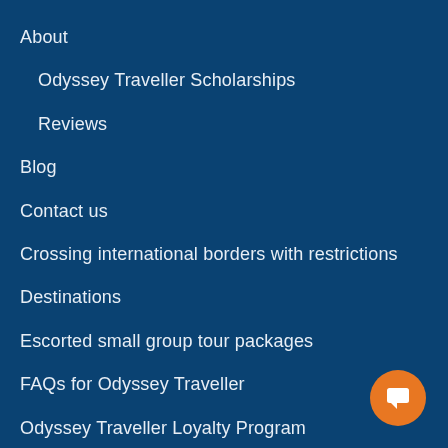About
Odyssey Traveller Scholarships
Reviews
Blog
Contact us
Crossing international borders with restrictions
Destinations
Escorted small group tour packages
FAQs for Odyssey Traveller
Odyssey Traveller Loyalty Program
[Figure (illustration): Orange circular chat/feedback button with white speech bubble icon, positioned bottom right]